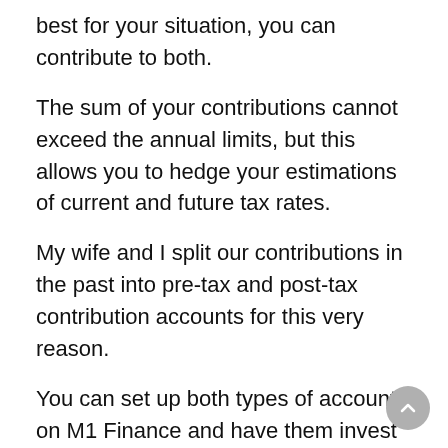best for your situation, you can contribute to both.
The sum of your contributions cannot exceed the annual limits, but this allows you to hedge your estimations of current and future tax rates.
My wife and I split our contributions in the past into pre-tax and post-tax contribution accounts for this very reason.
You can set up both types of accounts on M1 Finance and have them invest in the same portfolio in each.
Consider these as long-term investments and whether a Custom or Prebuilt Portfolio works best for you.
Similarly, you can also choose to invest in individual stocks you think will outperform over long periods of time.